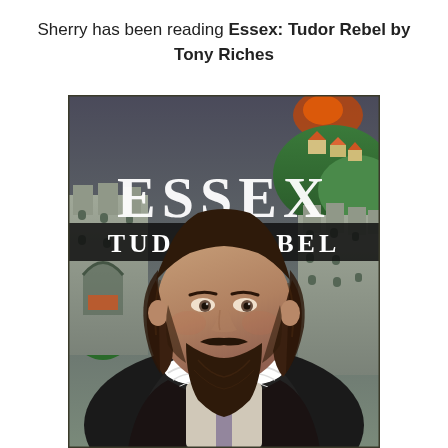Sherry has been reading Essex: Tudor Rebel by Tony Riches
[Figure (illustration): Book cover for 'Essex: Tudor Rebel' by Tony Riches. Shows a illustrated portrait of a bearded Tudor-era nobleman with dark curly hair wearing a ruffled collar and dark cloak, set against a medieval castle/town background with green hills and orange rooftops. Large white text 'ESSEX' at the top and 'TUDOR REBEL' on a black banner beneath it.]